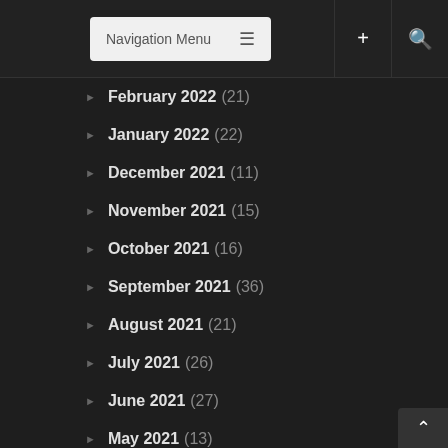Navigation Menu
February 2022 (21)
January 2022 (22)
December 2021 (11)
November 2021 (15)
October 2021 (16)
September 2021 (36)
August 2021 (21)
July 2021 (26)
June 2021 (27)
May 2021 (13)
April 2021 (12)
March 2021 (12)
February 2021 (4)